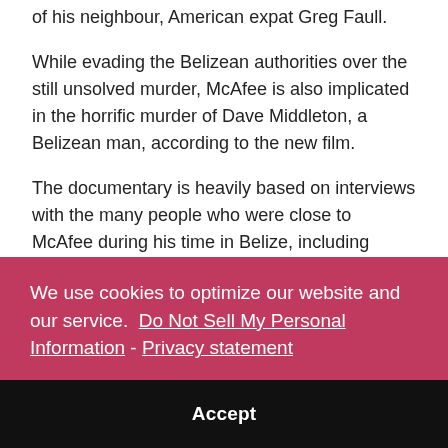of his neighbour, American expat Greg Faull.
While evading the Belizean authorities over the still unsolved murder, McAfee is also implicated in the horrific murder of Dave Middleton, a Belizean man, according to the new film.
The documentary is heavily based on interviews with the many people who were close to McAfee during his time in Belize, including several bodyguards and girlfriends as well as local officials and media sources. In particular,
We use cookies to optimize our website and our service.  Do Not Sell My Personal Information - Privacy statement
Accept
his former neighbor for poisoning the cyber security